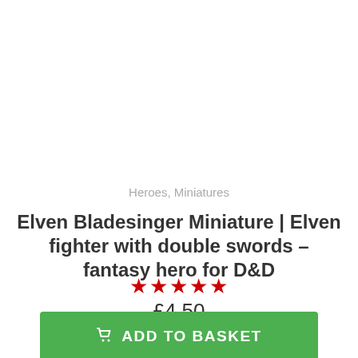Heroes, Miniatures
Elven Bladesinger Miniature | Elven fighter with double swords – fantasy hero for D&D
★★★★★
£4.50
ADD TO BASKET